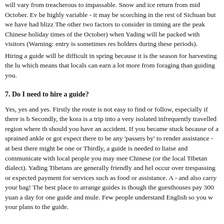will vary from treacherous to impassable. Snow and ice return from mid October. Ev be highly variable - it may be scorching in the rest of Sichuan but we have had blizz The other two factors to consider in timing are the peak Chinese holiday times of the October) when Yading will be packed with visitors (Warning: entry is sometimes res holders during these periods).
Hiring a guide will be difficult in spring because it is the season for harvesting the lu which means that locals can earn a lot more from foraging than guiding you.
7. Do I need to hire a guide?
Yes, yes and yes. Firstly the route is not easy to find or follow, especially if there is b Secondly, the kora is a trip into a very isolated infrequently travelled region where th should you have an accident. If you became stuck because of a sprained ankle or got expect there to be any 'passers by' to render assistance - at best there might be one or Thirdly, a guide is needed to liaise and communicate with local people you may mee Chinese (or the local Tibetan dialect). Yading Tibetans are generally friendly and hel occur over trespassing or expected payment for services such as food or assistance. A - and also carry your bag! The best place to arrange guides is though the guesthouses pay 300 yuan a day for one guide and mule. Few people understand English so you w your plans to the guide.